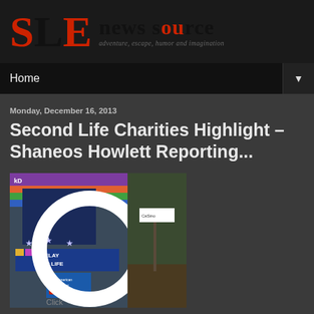SLE news source — adventure, escape, humor and imagination
Home
Monday, December 16, 2013
Second Life Charities Highlight – Shaneos Howlett Reporting...
[Figure (photo): Screenshot from Second Life virtual world showing a Relay for Life / American Cancer Society event scene with a white ring/circle overlay and colorful banners.]